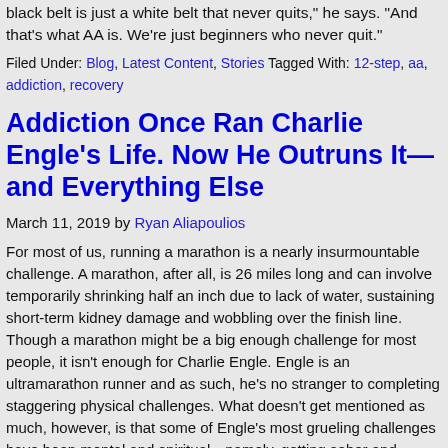black belt is just a white belt that never quits," he says. "And that's what AA is. We're just beginners who never quit."
Filed Under: Blog, Latest Content, Stories Tagged With: 12-step, aa, addiction, recovery
Addiction Once Ran Charlie Engle's Life. Now He Outruns It—and Everything Else
March 11, 2019 by Ryan Aliapoulios
For most of us, running a marathon is a nearly insurmountable challenge. A marathon, after all, is 26 miles long and can involve temporarily shrinking half an inch due to lack of water, sustaining short-term kidney damage and wobbling over the finish line. Though a marathon might be a big enough challenge for most people, it isn't enough for Charlie Engle. Engle is an ultramarathon runner and as such, he's no stranger to completing staggering physical challenges. What doesn't get mentioned as much, however, is that some of Engle's most grueling challenges have been mental and spiritual—namely, getting sober and maintaining his peace and purpose.